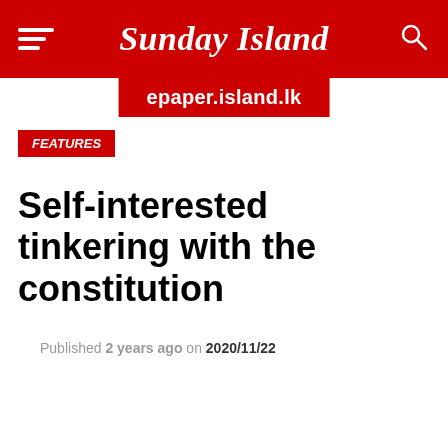Sunday Island
epaper.island.lk
FEATURES
Self-interested tinkering with the constitution
Published 2 years ago on 2020/11/22